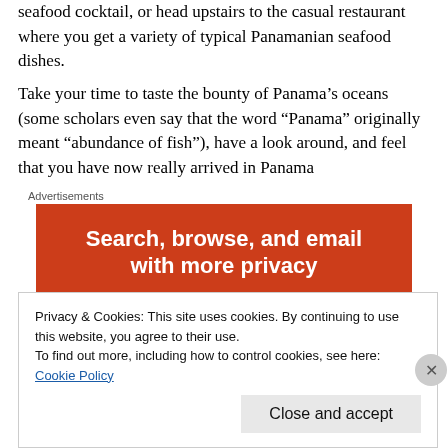seafood cocktail, or head upstairs to the casual restaurant where you get a variety of typical Panamanian seafood dishes.
Take your time to taste the bounty of Panama’s oceans (some scholars even say that the word “Panama” originally meant “abundance of fish”), have a look around, and feel that you have now really arrived in Panama
Advertisements
[Figure (other): Advertisement banner with orange/red background reading 'Search, browse, and email']
Privacy & Cookies: This site uses cookies. By continuing to use this website, you agree to their use.
To find out more, including how to control cookies, see here:
Cookie Policy
Close and accept